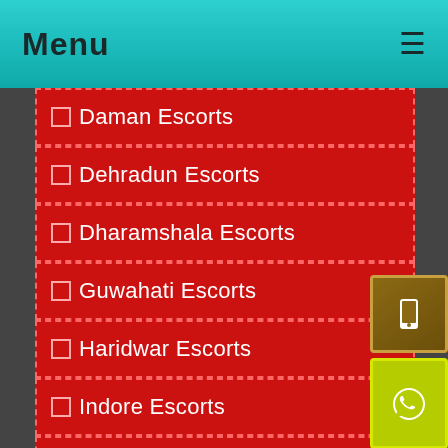Menu
⬜Daman Escorts
⬜Dehradun Escorts
⬜Dharamshala Escorts
⬜Guwahati Escorts
⬜Haridwar Escorts
⬜Indore Escorts
⬜Jabalpur Escorts
⬜Jalandhar Escorts
⬜Jammu Escorts
⬜Jamshedpur Escorts
[Figure (infographic): Phone call widget button (brown/gold) with mobile phone icon]
[Figure (infographic): WhatsApp widget button (yellow-green) with WhatsApp logo icon]